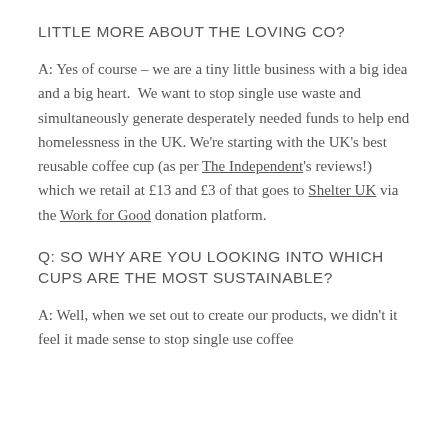LITTLE MORE ABOUT THE LOVING CO?
A: Yes of course – we are a tiny little business with a big idea and a big heart.  We want to stop single use waste and simultaneously generate desperately needed funds to help end homelessness in the UK. We're starting with the UK's best reusable coffee cup (as per The Independent's reviews!) which we retail at £13 and £3 of that goes to Shelter UK via the Work for Good donation platform.
Q: SO WHY ARE YOU LOOKING INTO WHICH CUPS ARE THE MOST SUSTAINABLE?
A: Well, when we set out to create our products, we didn't it feel it made sense to stop single use coffee